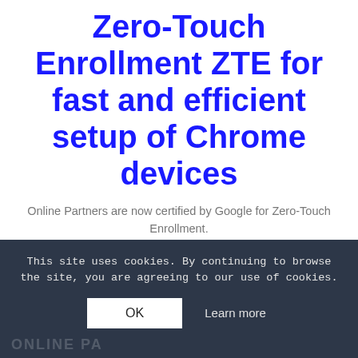Zero-Touch Enrollment ZTE for fast and efficient setup of Chrome devices
Online Partners are now certified by Google for Zero-Touch Enrollment.
Learn more about how we simplify setting up new Chromebooks in larger organizations.
This site uses cookies. By continuing to browse the site, you are agreeing to our use of cookies.
OK
Learn more